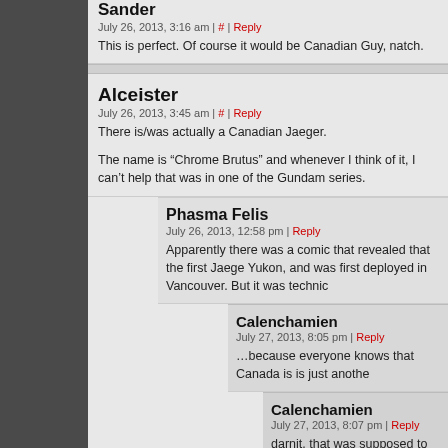Sander
July 26, 2013, 3:16 am | # | Reply
This is perfect. Of course it would be Canadian Guy, natch.
Alceister
July 26, 2013, 3:45 am | # | Reply
There is/was actually a Canadian Jaeger.
The name is “Chrome Brutus” and whenever I think of it, I can’t help that was in one of the Gundam series.
Phasma Felis
July 26, 2013, 12:58 pm | Reply
Apparently there was a comic that revealed that the first Jaege Yukon, and was first deployed in Vancouver. But it was technic
Calenchamien
July 27, 2013, 8:05 pm | Reply
…because everyone knows that Canada is is just anothe
Calenchamien
July 27, 2013, 8:07 pm | Reply
darnit, that was supposed to go with ‘resigned sarc HTML tagging would be taken seriously. oops